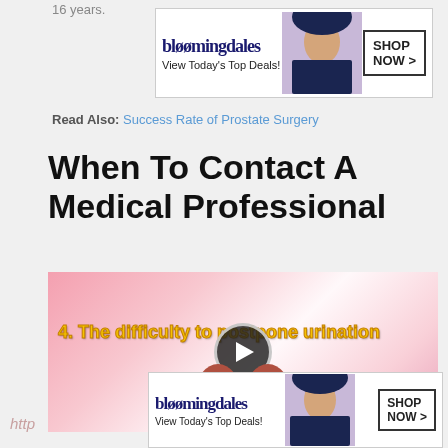16 years.
[Figure (other): Bloomingdale's advertisement banner at top: 'bloomingdales / View Today's Top Deals!' with fashion model image and 'SHOP NOW >' button]
Read Also: Success Rate of Prostate Surgery
When To Contact A Medical Professional
[Figure (other): Video thumbnail showing medical illustration of kidneys with text '4. The difficulty to postpone urination' and a play button overlay. CLOSE button in bottom right.]
[Figure (other): Bloomingdale's advertisement banner at bottom: 'bloomingdales / View Today's Top Deals!' with fashion model image and 'SHOP NOW >' button]
http